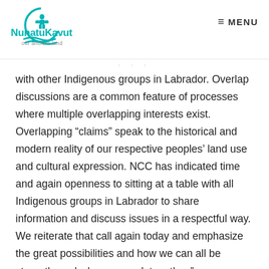[Figure (logo): NunatuKavut logo with inukshuk figure and teal wave, text reads 'NunatuKavut our ancient land']
≡ MENU
with other Indigenous groups in Labrador. Overlap discussions are a common feature of processes where multiple overlapping interests exist. Overlapping “claims” speak to the historical and modern reality of our respective peoples’ land use and cultural expression. NCC has indicated time and again openness to sitting at a table with all Indigenous groups in Labrador to share information and discuss issues in a respectful way. We reiterate that call again today and emphasize the great possibilities and how we can all be strengthened when we work together.”
NCC Media Contact: